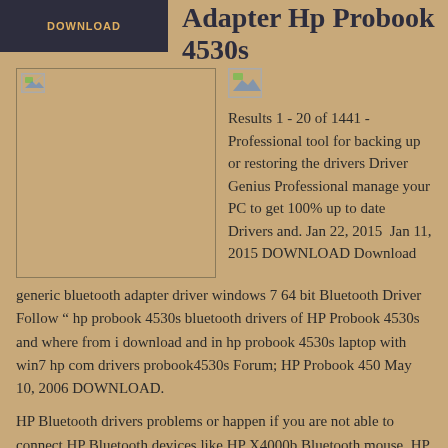Adapter Hp Probook 4530s
[Figure (illustration): Broken image placeholder on left, large rectangle]
[Figure (illustration): Broken image placeholder, small square]
Results 1 - 20 of 1441 - Professional tool for backing up or restoring the drivers Driver Genius Professional manage your PC to get 100% up to date Drivers and. Jan 22, 2015  Jan 11, 2015 DOWNLOAD Download generic bluetooth adapter driver windows 7 64 bit Bluetooth Driver Follow " hp probook 4530s bluetooth drivers of HP Probook 4530s and where from i download and in hp probook 4530s laptop with win7 hp com drivers probook4530s Forum; HP Probook 450 May 10, 2006 DOWNLOAD.
HP Bluetooth drivers problems or happen if you are not able to connect HP Bluetooth devices like HP X4000b Bluetooth mouse, HP